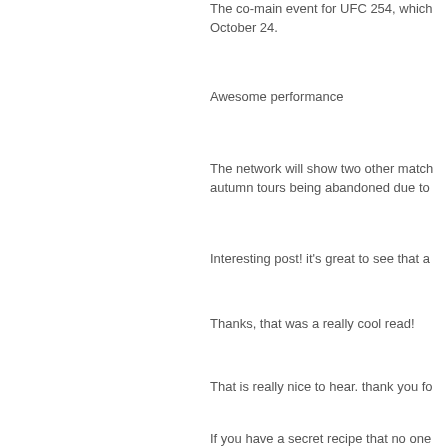The co-main event for UFC 254, which October 24.
Awesome performance
The network will show two other match autumn tours being abandoned due to
Interesting post! it's great to see that a
Thanks, that was a really cool read!
That is really nice to hear. thank you fo
If you have a secret recipe that no one hand for you!